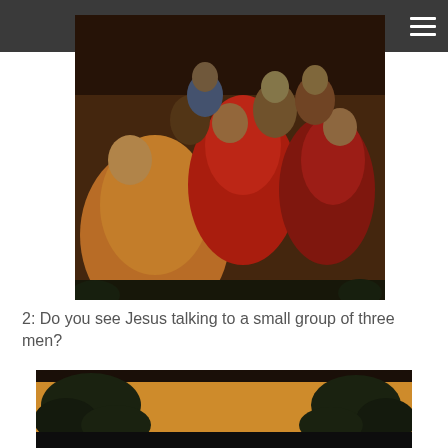[Figure (illustration): Medieval religious painting showing a group of figures in robes in shades of orange, red, and dark tones, appearing to depict a biblical scene with multiple men crowded together.]
2: Do you see Jesus talking to a small group of three men?
[Figure (illustration): Partial view of another medieval religious painting showing dark tree-like shapes against a golden/orange background.]